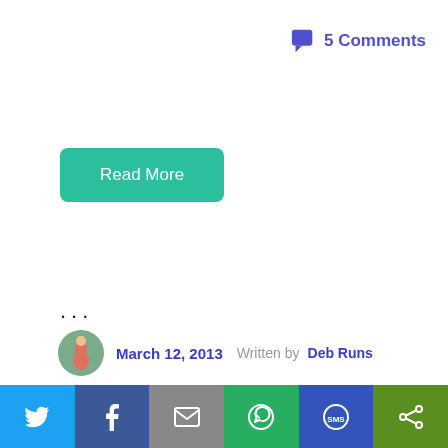5 Comments
Read More
...
March 12, 2013   Written by Deb Runs
[Figure (photo): Desert rock formation / buttes landscape photo with light blue sky, reddish-brown mesas and cliffs]
[Figure (infographic): Social share bar with icons for Twitter, Facebook, Email, WhatsApp, SMS, and another share option]